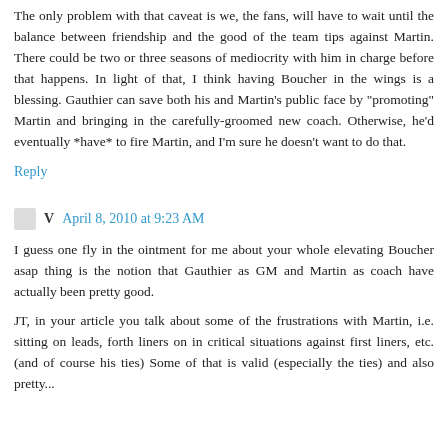The only problem with that caveat is we, the fans, will have to wait until the balance between friendship and the good of the team tips against Martin. There could be two or three seasons of mediocrity with him in charge before that happens. In light of that, I think having Boucher in the wings is a blessing. Gauthier can save both his and Martin's public face by "promoting" Martin and bringing in the carefully-groomed new coach. Otherwise, he'd eventually *have* to fire Martin, and I'm sure he doesn't want to do that.
Reply
V  April 8, 2010 at 9:23 AM
I guess one fly in the ointment for me about your whole elevating Boucher asap thing is the notion that Gauthier as GM and Martin as coach have actually been pretty good.
JT, in your article you talk about some of the frustrations with Martin, i.e. sitting on leads, forth liners on in critical situations against first liners, etc. (and of course his ties) Some of that is valid (especially the ties) and also pretty...